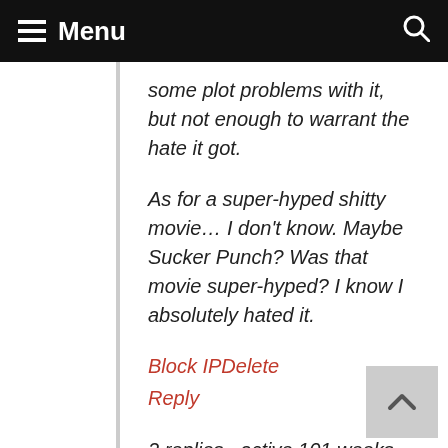Menu
some plot problems with it, but not enough to warrant the hate it got.
As for a super-hyped shitty movie… I don't know. Maybe Sucker Punch? Was that movie super-hyped? I know I absolutely hated it.
Block IP Delete
Reply
2 replies · active 101 weeks ago
[Figure (photo): User avatar image showing a cartoon/illustrated character]